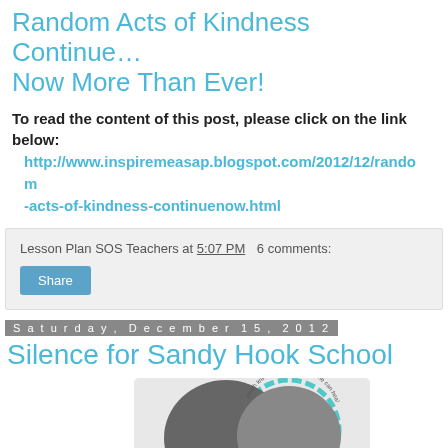Random Acts of Kindness Continue… Now More Than Ever!
To read the content of this post, please click on the link below: http://www.inspiremeasap.blogspot.com/2012/12/random-acts-of-kindness-continuenow.html
Lesson Plan SOS Teachers at 5:07 PM   6 comments:
Share
Saturday, December 15, 2012
Silence for Sandy Hook School
[Figure (illustration): Memorial graphic with two overlapping heart/circle shapes in dark gray, with teal decorative border. Text reads 'Sandy Hook Elementary' and 'death leaves a heartache no one can heal'.]